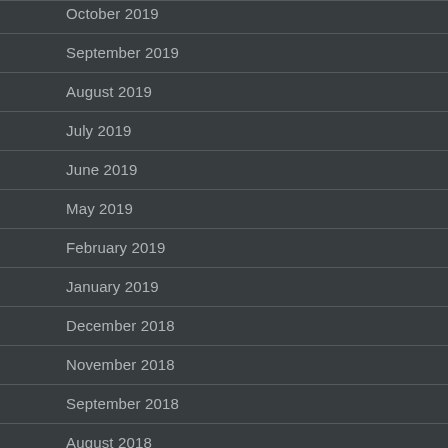October 2019
September 2019
August 2019
July 2019
June 2019
May 2019
February 2019
January 2019
December 2018
November 2018
September 2018
August 2018